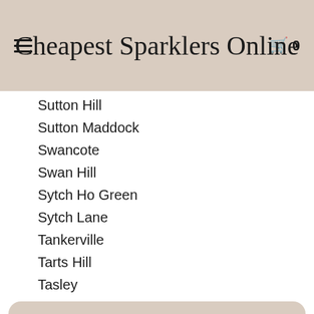Cheapest Sparklers Online
Sutton Hill
Sutton Maddock
Swancote
Swan Hill
Sytch Ho Green
Sytch Lane
Tankerville
Tarts Hill
Tasley
We use cookies to ensure you get the best experience whilst using our website. You can accept or find out more here
The Down